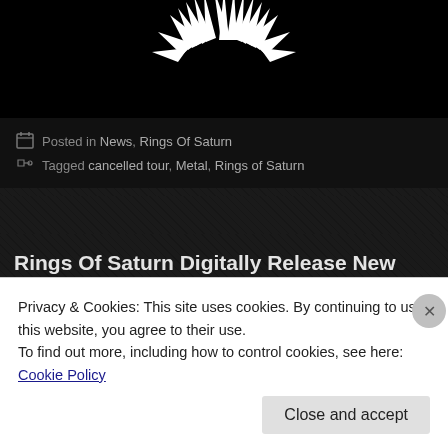[Figure (photo): Dark background with white spiky/sharp artistic graphic at the top of the page]
Posted in News, Rings Of Saturn
Tagged cancelled tour, Metal, Rings of Saturn
Rings Of Saturn Digitally Release New Self-Titled Album
Posted by caemanamelio on June 15, 2022
Rings Of Saturn have digitally released a new self-titled album. You can strea
Privacy & Cookies: This site uses cookies. By continuing to use this website, you agree to their use.
To find out more, including how to control cookies, see here: Cookie Policy
Close and accept